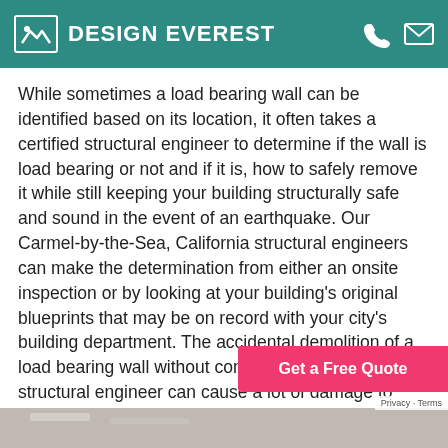DESIGN EVEREST
While sometimes a load bearing wall can be identified based on its location, it often takes a certified structural engineer to determine if the wall is load bearing or not and if it is, how to safely remove it while still keeping your building structurally safe and sound in the event of an earthquake. Our Carmel-by-the-Sea, California structural engineers can make the determination from either an onsite inspection or by looking at your building's original blueprints that may be on record with your city's building department. The accidental demolition of a load bearing wall without consulting a licensed structural engineer can cause a lot of damage to both life and property. California has codes unique to our community and may have specific requirements beyond the State Code.
[Figure (screenshot): Get a Free Quote button (pink/salmon colored)]